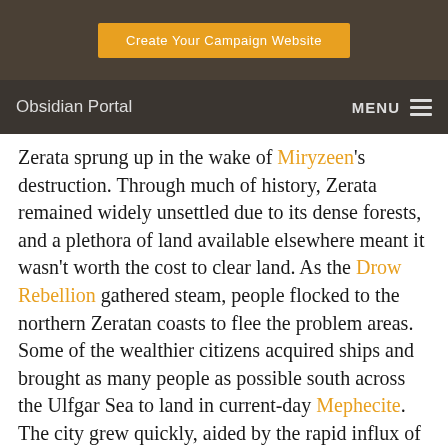Create Your Campaign Website
Obsidian Portal  MENU
Zerata sprung up in the wake of Miryzeen's destruction. Through much of history, Zerata remained widely unsettled due to its dense forests, and a plethora of land available elsewhere meant it wasn't worth the cost to clear land. As the Drow Rebellion gathered steam, people flocked to the northern Zeratan coasts to flee the problem areas. Some of the wealthier citizens acquired ships and brought as many people as possible south across the Ulfgar Sea to land in current-day Mephecite. The city grew quickly, aided by the rapid influx of people and the combined expertise of some of Miryzeen's finest builders and engineers. As